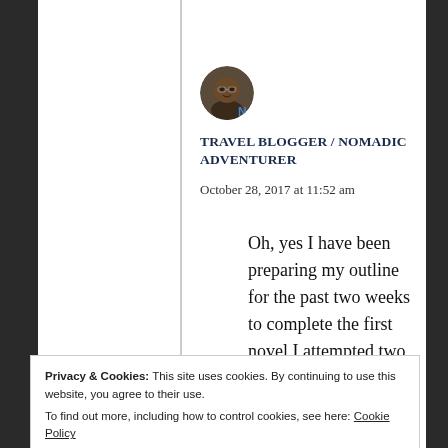[Figure (illustration): Circular avatar photo of a man, travel blogger, dark-skinned, glasses, against a blog/site navigation background with a blue 'N' icon]
TRAVEL BLOGGER / NOMADIC ADVENTURER
October 28, 2017 at 11:52 am
Oh, yes I have been preparing my outline for the past two weeks to complete the first novel I attempted two years ago. I was side tracked when I discovered Scrivener. 🙂
Privacy & Cookies: This site uses cookies. By continuing to use this website, you agree to their use.
To find out more, including how to control cookies, see here: Cookie Policy
Close and accept
October 28, 2017 at 11:57 am